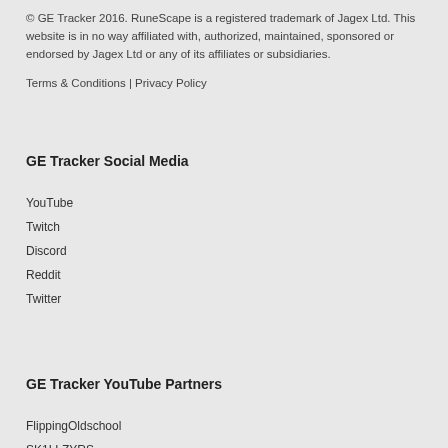© GE Tracker 2016. RuneScape is a registered trademark of Jagex Ltd. This website is in no way affiliated with, authorized, maintained, sponsored or endorsed by Jagex Ltd or any of its affiliates or subsidiaries.
Terms & Conditions | Privacy Policy
GE Tracker Social Media
YouTube
Twitch
Discord
Reddit
Twitter
GE Tracker YouTube Partners
FlippingOldschool
SK1LLZYRS
smallexplamp
26q